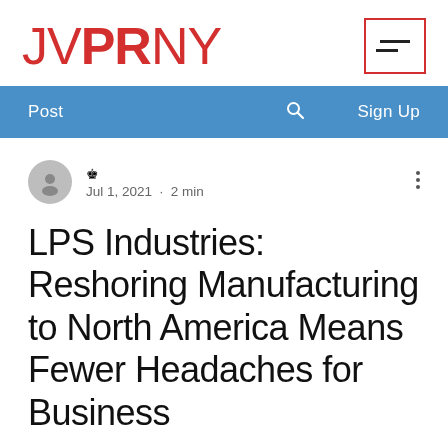[Figure (logo): JVPRNY logo in red with hamburger menu icon in red border box]
Post  🔍  Sign Up
👑
Jul 1, 2021  •  2 min
LPS Industries: Reshoring Manufacturing to North America Means Fewer Headaches for Business
LPS   Industries   Moonachie   NJ